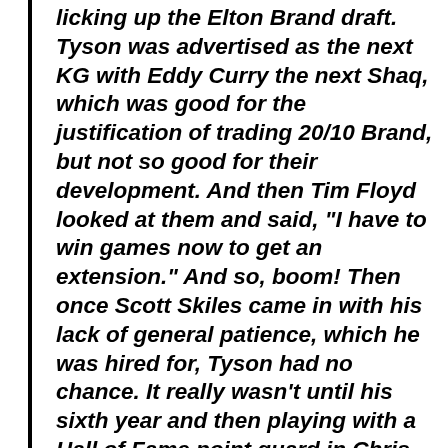licking up the Elton Brand draft. Tyson was advertised as the next KG with Eddy Curry the next Shaq, which was good for the justification of trading 20/10 Brand, but not so good for their development. And then Tim Floyd looked at them and said, "I have to win games now to get an extension." And so, boom! Then once Scott Skiles came in with his lack of general patience, which he was hired for, Tyson had no chance. It really wasn't until his sixth year and then playing with a Hall of Fame point guard in Chris Paul that he had a chance to become who he really was. Which wasn't Garnett...